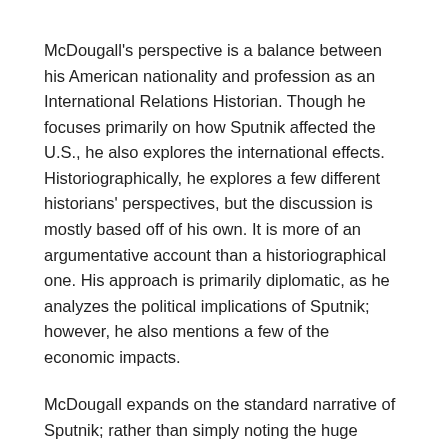McDougall's perspective is a balance between his American nationality and profession as an International Relations Historian. Though he focuses primarily on how Sputnik affected the U.S., he also explores the international effects. Historiographically, he explores a few different historians' perspectives, but the discussion is mostly based off of his own. It is more of an argumentative account than a historiographical one. His approach is primarily diplomatic, as he analyzes the political implications of Sputnik; however, he also mentions a few of the economic impacts.
McDougall expands on the standard narrative of Sputnik; rather than simply noting the huge impact it had, he explains what the various impacts were. Unlike most standard, U.S.-centric accounts, McDougall's does not frame the U.S. in a necessarily positive way, and he tries to also address the international affects. Rather than a the nationalistic standard approach, McDougall seems to offer a rather honest account of the impact of Sputnik.